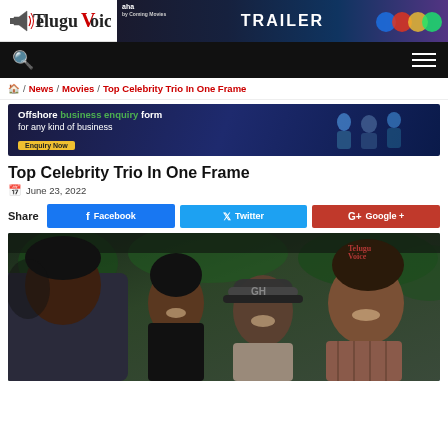TeluguVoice | TRAILER ad banner
Navigation bar with search and menu
🏠 / News / Movies / Top Celebrity Trio In One Frame
[Figure (photo): Offshore business enquiry form advertisement banner]
Top Celebrity Trio In One Frame
June 23, 2022
Share  Facebook  Twitter  Google +
[Figure (photo): Group photo of four men (Chiranjeevi, and others) posing together indoors with greenery in the background. TeluguVoice watermark in the upper right.]